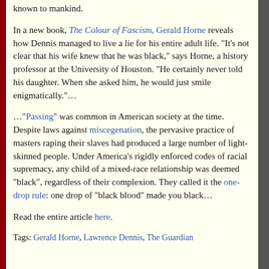known to mankind.
In a new book, The Colour of Fascism, Gerald Horne reveals how Dennis managed to live a lie for his entire adult life. “It’s not clear that his wife knew that he was black,” says Horne, a history professor at the University of Houston. “He certainly never told his daughter. When she asked him, he would just smile enigmatically.”…
…“Passing” was common in American society at the time. Despite laws against miscegenation, the pervasive practice of masters raping their slaves had produced a large number of light-skinned people. Under America’s rigidly enforced codes of racial supremacy, any child of a mixed-race relationship was deemed “black”, regardless of their complexion. They called it the one-drop rule: one drop of “black blood” made you black…
Read the entire article here.
Tags: Gerald Horne, Lawrence Dennis, The Guardian